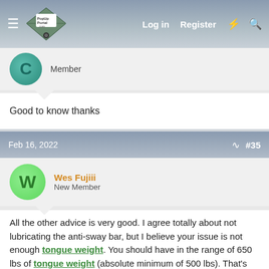PopUpPortal.com — Log in | Register
Member
Good to know thanks
Feb 16, 2022  #35
Wes Fujiii
New Member
All the other advice is very good. I agree totally about not lubricating the anti-sway bar, but I believe your issue is not enough tongue weight. You should have in the range of 650 lbs of tongue weight (absolute minimum of 500 lbs). That's the equivalent of 3 or 4 people standing on your tow ball. I would imagine that if you had that many people on the back of your rig (without the trailer), then it would sag a lot more than what the photo shows. Hence, just eyeballing from the photo, you need